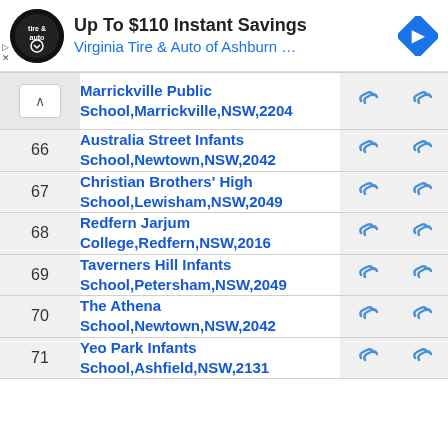[Figure (screenshot): Advertisement banner for Virginia Tire & Auto of Ashburn with logo and navigation icon]
| # | School |  |  |
| --- | --- | --- | --- |
|  | Marrickville Public School,Marrickville,NSW,2204 |  |  |
| 66 | Australia Street Infants School,Newtown,NSW,2042 |  |  |
| 67 | Christian Brothers' High School,Lewisham,NSW,2049 |  |  |
| 68 | Redfern Jarjum College,Redfern,NSW,2016 |  |  |
| 69 | Taverners Hill Infants School,Petersham,NSW,2049 |  |  |
| 70 | The Athena School,Newtown,NSW,2042 |  |  |
| 71 | Yeo Park Infants School,Ashfield,NSW,2131 |  |  |